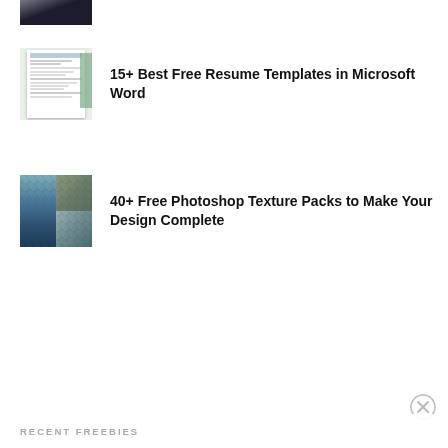[Figure (photo): Partial thumbnail image at top showing a dark photo]
15+ Best Free Resume Templates in Microsoft Word
[Figure (photo): Thumbnail of a resume template with green plant accents]
40+ Free Photoshop Texture Packs to Make Your Design Complete
[Figure (photo): Thumbnail collage of texture images including stone and blue digital textures]
RECENT FREEBIES